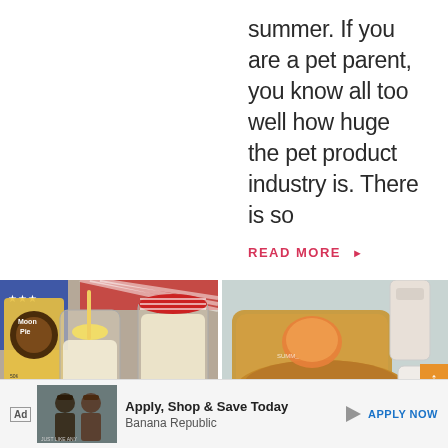summer. If you are a pet parent, you know all too well how huge the pet product industry is. There is so
READ MORE ▶
[Figure (photo): Two mason jars filled with banana pudding dessert, with Moon Pie brand packaging visible in the background, decorated with red gingham fabric]
[Figure (photo): Overhead view of a wooden bowl and cutting board with a peach or fruit, on a light blue background with ceramic jars]
Ad  Apply, Shop & Save Today  Banana Republic  APPLY NOW